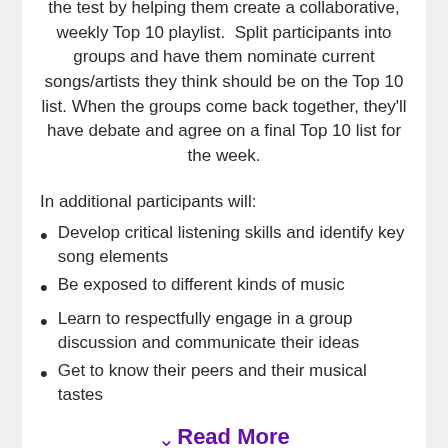the test by helping them create a collaborative, weekly Top 10 playlist. Split participants into groups and have them nominate current songs/artists they think should be on the Top 10 list. When the groups come back together, they'll have debate and agree on a final Top 10 list for the week.
In additional participants will:
Develop critical listening skills and identify key song elements
Be exposed to different kinds of music
Learn to respectfully engage in a group discussion and communicate their ideas
Get to know their peers and their musical tastes
Read More